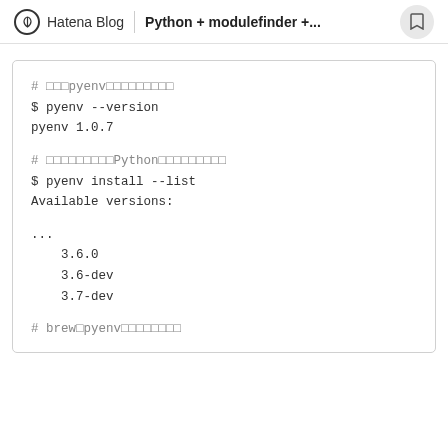Hatena Blog | Python + modulefinder +...
# □□□pyenv□□□□□□□□□
$ pyenv --version
pyenv 1.0.7

# □□□□□□□□□Python□□□□□□□□□
$ pyenv install --list
Available versions:

...
  3.6.0
  3.6-dev
  3.7-dev

# brew□pyenv□□□□□□□□